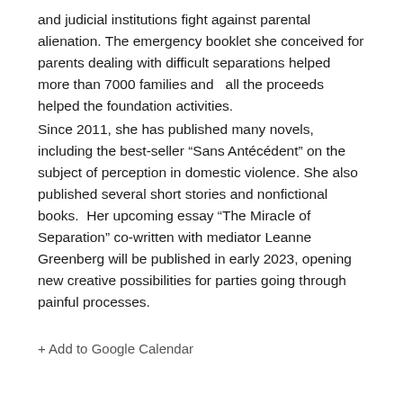and judicial institutions fight against parental alienation. The emergency booklet she conceived for parents dealing with difficult separations helped more than 7000 families and  all the proceeds helped the foundation activities.
Since 2011, she has published many novels, including the best-seller “Sans Antécédent” on the subject of perception in domestic violence. She also published several short stories and nonfictional  books.  Her upcoming essay “The Miracle of Separation” co-written with mediator Leanne Greenberg will be published in early 2023, opening new creative possibilities for parties going through painful processes.
+ Add to Google Calendar